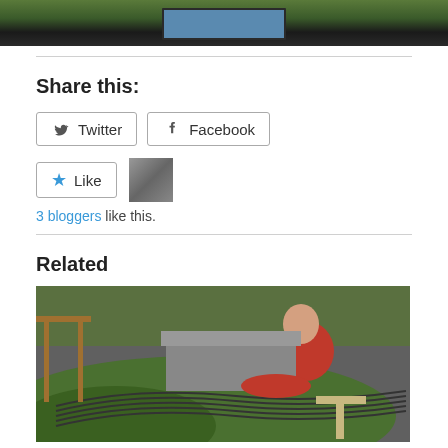[Figure (photo): Top partial image showing outdoor scene, possibly a canal or railway setting]
Share this:
Twitter  Facebook
Like  3 bloggers like this.
Related
[Figure (photo): Man in red shirt working on a model railway layout with multiple tracks in a room]